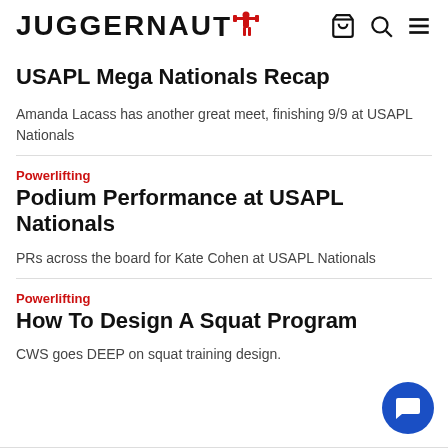JUGGERNAUT [logo with lifter icon] [cart icon] [search icon] [menu icon]
USAPL Mega Nationals Recap
Amanda Lacass has another great meet, finishing 9/9 at USAPL Nationals
Powerlifting
Podium Performance at USAPL Nationals
PRs across the board for Kate Cohen at USAPL Nationals
Powerlifting
How To Design A Squat Program
CWS goes DEEP on squat training design.